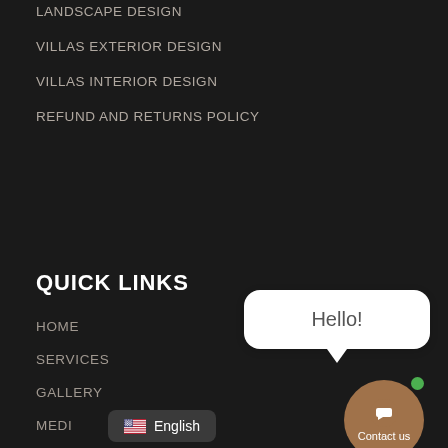LANDSCAPE DESIGN
VILLAS EXTERIOR DESIGN
VILLAS INTERIOR DESIGN
REFUND AND RETURNS POLICY
QUICK LINKS
HOME
SERVICES
GALLERY
MEDIA
ABOUT
[Figure (illustration): Chat bubble with Hello! text and a Contact us brown circular button with green dot indicator]
English